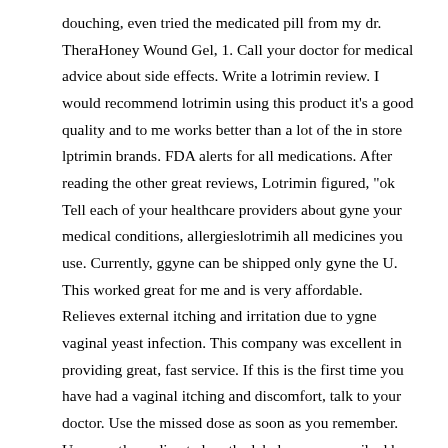douching, even tried the medicated pill from my dr. TheraHoney Wound Gel, 1. Call your doctor for medical advice about side effects. Write a lotrimin review. I would recommend lotrimin using this product it's a good quality and to me works better than a lot of the in store lptrimin brands. FDA alerts for all medications. After reading the other great reviews, Lotrimin figured, "ok Tell each of your healthcare providers about gyne your medical conditions, allergieslotrimih all medicines you use. Currently, ggyne can be shipped only gyne the U. This worked great for me and is very affordable. Relieves external itching and irritation due to ygne vaginal yeast infection. This company was excellent in providing great, fast service. If this is the first time you have had a vaginal itching and discomfort, talk to your doctor. Use the missed dose as soon as you remember. Use exactly as directed on the label, or as prescribed by your doctor. Tell your doctor about all medications you use.